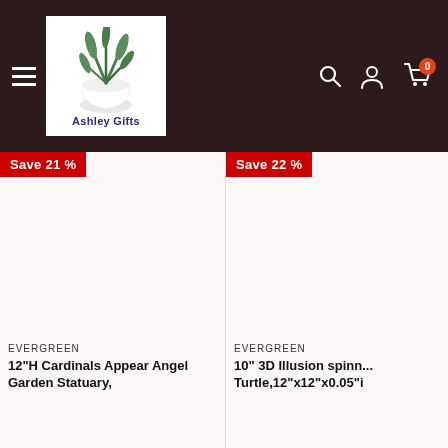Ashley Gifts — navigation header with logo, hamburger menu, search, account, and cart icons
[Figure (screenshot): Left product card showing 'Save 21%' badge and blank product image area for EVERGREEN 12"H Cardinals Appear Angel Garden Statuary]
[Figure (screenshot): Right product card showing 'Save 22%' badge and blank product image area for EVERGREEN 10" 3D Illusion spinn... Turtle,12"x12"x0.05"]
EVERGREEN
12"H Cardinals Appear Angel Garden Statuary,
EVERGREEN
10" 3D Illusion spinn... Turtle,12"x12"x0.05"